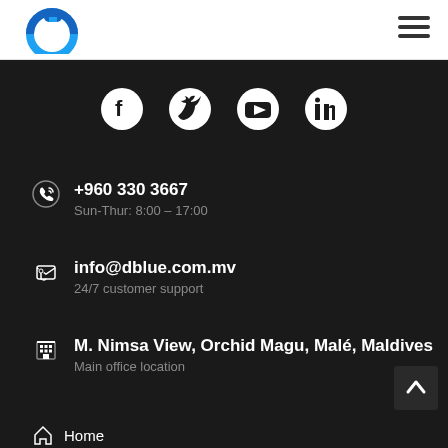[Figure (logo): dblue company logo - circular blue icon with 'd' and 'b' letters]
[Figure (illustration): Hamburger menu icon (three horizontal lines)]
[Figure (illustration): Social media icons row: Facebook, Twitter, YouTube, LinkedIn]
+960 330 3667
Sun-Thur: 8:00 – 17:00
info@dblue.com.mv
24/7 customer support
M. Nimsa View, Orchid Magu, Malé, Maldives
Main office location
Home